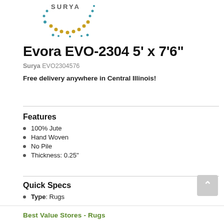[Figure (logo): Surya brand logo with teal and gold dot pattern forming a sun/arc shape with SURYA text]
Evora EVO-2304 5' x 7'6"
Surya EVO2304576
Free delivery anywhere in Central Illinois!
Features
100% Jute
Hand Woven
No Pile
Thickness: 0.25"
Quick Specs
Type: Rugs
See More